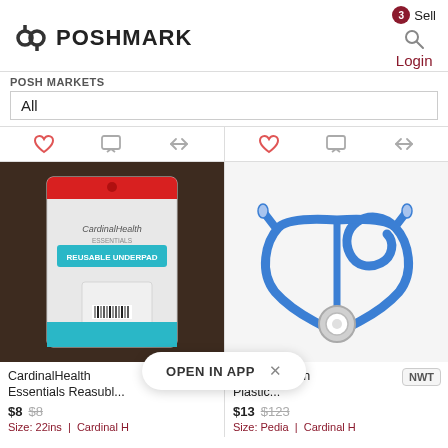POSHMARK — Sell, Login
POSH MARKETS
All
[Figure (photo): CardinalHealth Essentials Reusable Underpad product in clear plastic packaging on a dark brown background]
[Figure (photo): Blue stethoscope on a white/light grey background]
CardinalHealth Essentials Reasubl...
$8  $8
Size: 22ins  Cardinal H
ardinal Health Plastic...  NWT
$13  $123
Size: Pedia  Cardinal H
OPEN IN APP  ×